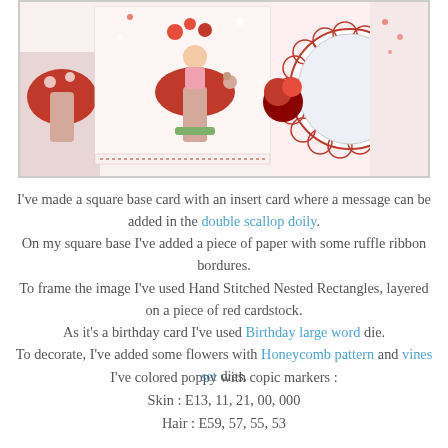[Figure (photo): A handmade greeting card featuring a fairy girl sitting on a red mushroom with a small bear, surrounded by red floral patterned paper, a double scallop doily with a circular frame, red flowers, and decorative elements on a white and red background.]
I've made a square base card with an insert card where a message can be added in the double scallop doily. On my square base I've added a piece of paper with some ruffle ribbon bordures. To frame the image I've used Hand Stitched Nested Rectangles, layered on a piece of red cardstock. As it's a birthday card I've used Birthday large word die. To decorate, I've added some flowers with Honeycomb pattern and vines set dies.
I've colored poppy with copic markers :
Skin : E13, 11, 21, 00, 000
Hair : E59, 57, 55, 53